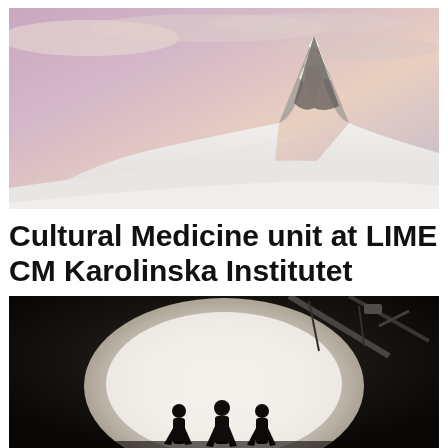[Figure (photo): Snow-covered Matterhorn mountain peak with dramatic pink and purple sky at dusk]
Cultural Medicine unit at LIME CM Karolinska Institutet
[Figure (photo): Silhouettes of three people standing in front of a bright cinema screen, with film equipment visible in the dark]